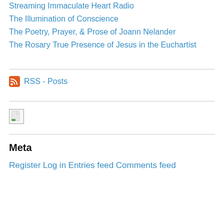Streaming Immaculate Heart Radio
The Illumination of Conscience
The Poetry, Prayer, & Prose of Joann Nelander
The Rosary
True Presence of Jesus in the Euchartist
RSS - Posts
[Figure (other): Broken image placeholder with small green icon]
Meta
Register
Log in
Entries feed
Comments feed